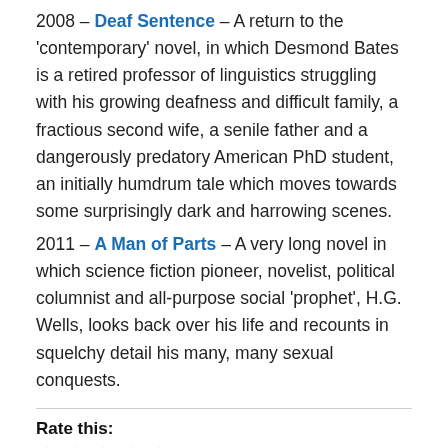2008 – Deaf Sentence – A return to the 'contemporary' novel, in which Desmond Bates is a retired professor of linguistics struggling with his growing deafness and difficult family, a fractious second wife, a senile father and a dangerously predatory American PhD student, an initially humdrum tale which moves towards some surprisingly dark and harrowing scenes.
2011 – A Man of Parts – A very long novel in which science fiction pioneer, novelist, political columnist and all-purpose social 'prophet', H.G. Wells, looks back over his life and recounts in squelchy detail his many, many sexual conquests.
Rate this:
Rate This